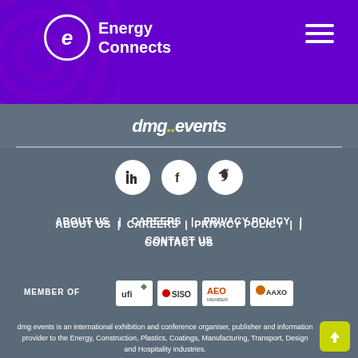[Figure (logo): Energy Connects logo with circular 'e' icon on purple background with concentric circles decoration and hamburger menu]
[Figure (logo): dmg::events logo in white italic text on dark grey bar]
[Figure (logo): Social media icons: LinkedIn, Facebook, Twitter (white circles)]
ABOUT US  |  CAREERS  |  PRIVACY POLICY  |  CONTACT US
MEMBER OF
[Figure (logo): Member logos: UFI, SISO, AEO Member, AAXO]
dmg events is an international exhibition and conference organiser, publisher and information provider to the Energy, Construction, Plastics, Coatings, Manufacturing, Transport, Design and Hospitality industries.